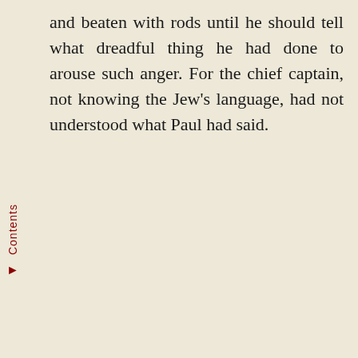and beaten with rods until he should tell what dreadful thing he had done to arouse such anger. For the chief captain, not knowing the Jew's language, had not understood what Paul had said.
Contents ►